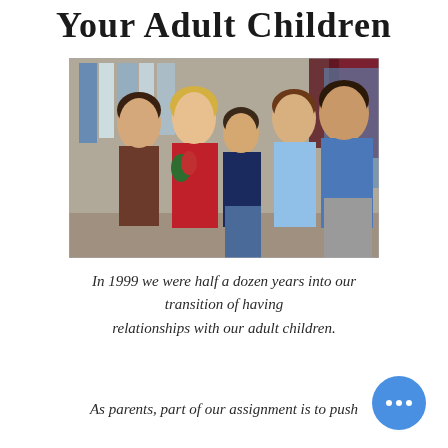Your Adult Children
[Figure (photo): A family photo from 1999 showing five people (adults and a younger child) posing together indoors, with colorful decorations in the background.]
In 1999 we were half a dozen years into our transition of having relationships with our adult children.
As parents, part of our assignment is to push